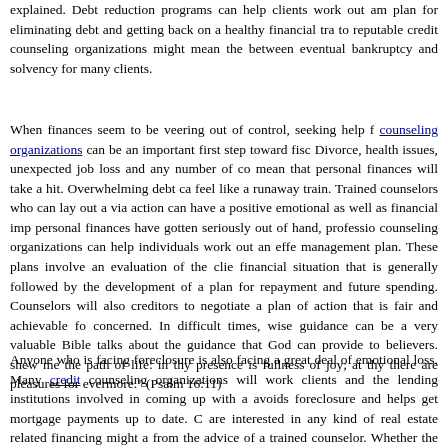explained. Debt reduction programs can help clients work out an plan for eliminating debt and getting back on a healthy financial tra to reputable credit counseling organizations might mean the between eventual bankruptcy and solvency for many clients.
When finances seem to be veering out of control, seeking help from counseling organizations can be an important first step toward fisc Divorce, health issues, unexpected job loss and any number of co mean that personal finances will take a hit. Overwhelming debt ca feel like a runaway train. Trained counselors who can lay out a via action can have a positive emotional as well as financial imp personal finances have gotten seriously out of hand, professi counseling organizations can help individuals work out an effe management plan. These plans involve an evaluation of the clie financial situation that is generally followed by the development of plan for repayment and future spending. Counselors will also creditors to negotiate a plan of action that is fair and achievable fo concerned. In difficult times, wise guidance can be a very valuable Bible talks about the guidance that God can provide to believers. shew me the path of life: in thy presence is fullness of joy; at th there are pleasures for evermore." (Psalm 16:11)
Anyone who is facing foreclosure is also facing a great deal of emotional loss. Many credit counseling organizations will work clients and the lending institutions involved in coming up with avoids foreclosure and helps get mortgage payments up to date. C are interested in any kind of real estate related financing might a from the advice of a trained counselor. Whether the client's inter reverse mortgage style of financing, counseling for potential ho finding and purchasing a home, or negotiating a real estate purcha